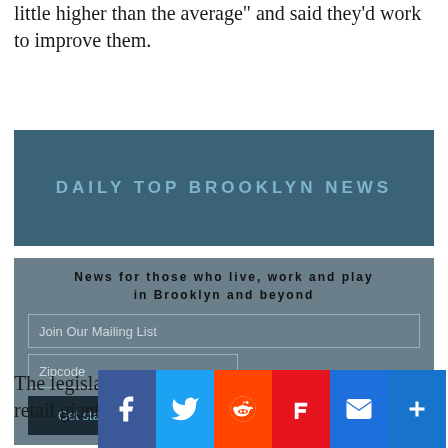little higher than the average" and said they'd work to improve them.
DAILY TOP BROOKLYN NEWS
News for those who live, work and play in Brooklyn and beyond
[Figure (infographic): Newsletter signup box with email input, zipcode input, and Get started button on a dark blue-grey background]
The legislation, passed Friday, would require the retail giant and o... provide workers wit...
[Figure (infographic): Social share bar with Facebook, Twitter, Reddit, Flipboard, Email, and More buttons]